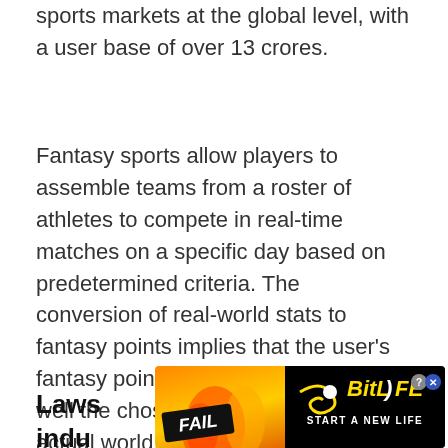sports markets at the global level, with a user base of over 13 crores.
Fantasy sports allow players to assemble teams from a roster of athletes to compete in real-time matches on a specific day based on predetermined criteria. The conversion of real-world stats to fantasy points implies that the user's fantasy points increase directly to how well the chosen player performs in the actual world. Until now, cricket was ruling the segment. However, other sports such as kabaddi, hockey, football, and volleyball will also gain prominence in the fantasy sports market.
Laws
indu
[Figure (screenshot): BitLife advertisement banner with red/orange/yellow fire background, a cartoon blonde woman facepalming, 'FAIL' text in black box, and 'BitLife - START A NEW LIFE' text on black background on the right side]